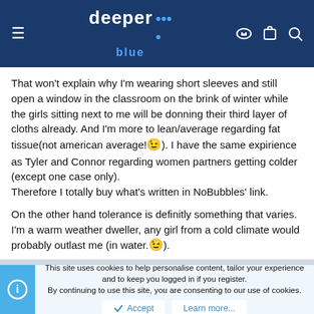deeper blue
That won't explain why I'm wearing short sleeves and still open a window in the classroom on the brink of winter while the girls sitting next to me will be donning their third layer of cloths already. And I'm more to lean/average regarding fat tissue(not american average! 😉). I have the same expirience as Tyler and Connor regarding women partners getting colder (except one case only).
Therefore I totally buy what's written in NoBubbles' link.
On the other hand tolerance is definitly something that varies. I'm a warm weather dweller, any girl from a cold climate would probably outlast me (in water.😉).
This site uses cookies to help personalise content, tailor your experience and to keep you logged in if you register.
By continuing to use this site, you are consenting to our use of cookies.